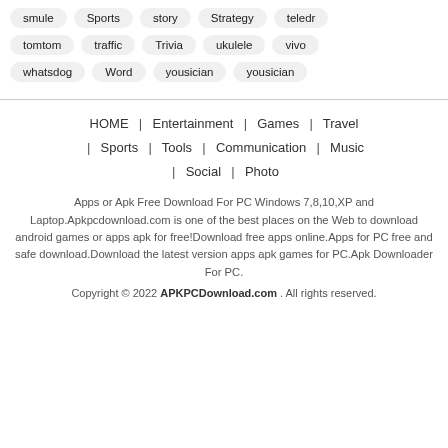smule Sports story Strategy teledr tomtom traffic Trivia ukulele vivo whatsdog Word yousician yousician
HOME | Entertainment | Games | Travel | Sports | Tools | Communication | Music | Social | Photo
Apps or Apk Free Download For PC Windows 7,8,10,XP and Laptop.Apkpcdownload.com is one of the best places on the Web to download android games or apps apk for free!Download free apps online.Apps for PC free and safe download.Download the latest version apps apk games for PC.Apk Downloader For PC.
Copyright © 2022 APKPCDownload.com . All rights reserved.